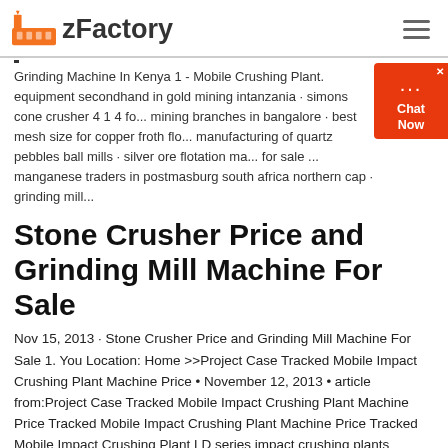zFactory
Grinding Machine In Kenya 1 - Mobile Crushing Plant. equipment secondhand in gold mining intanzania · simons cone crusher 4 1 4 fo... mining branches in bangalore · best mesh size for copper froth flo... manufacturing of quartz pebbles ball mills · silver ore flotation ma... for sale ... manganese traders in postmasburg south africa northern cap · grinding mill...
Stone Crusher Price and Grinding Mill Machine For Sale
Nov 15, 2013 · Stone Crusher Price and Grinding Mill Machine For Sale 1. You Location: Home >>Project Case Tracked Mobile Impact Crushing Plant Machine Price • November 12, 2013 • article from:Project Case Tracked Mobile Impact Crushing Plant Machine Price Tracked Mobile Impact Crushing Plant Machine Price Tracked Mobile Impact Crushing Plant LD series impact crushing plants (crawled
pulvorizer for manganese ore